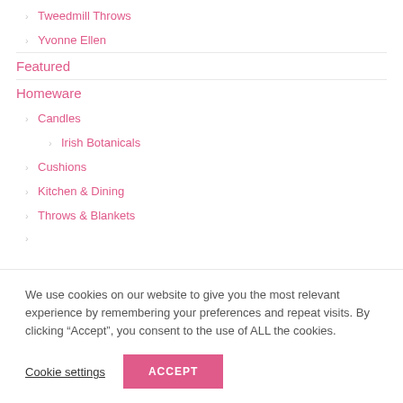Tweedmill Throws
Yvonne Ellen
Featured
Homeware
Candles
Irish Botanicals
Cushions
Kitchen & Dining
Throws & Blankets
We use cookies on our website to give you the most relevant experience by remembering your preferences and repeat visits. By clicking “Accept”, you consent to the use of ALL the cookies.
Cookie settings
ACCEPT